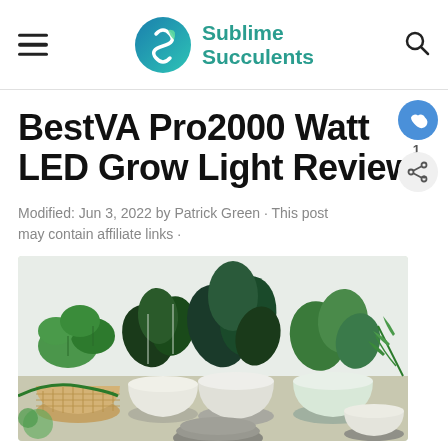Sublime Succulents
BestVA Pro2000 Watt LED Grow Light Review
Modified: Jun 3, 2022 by Patrick Green · This post may contain affiliate links ·
[Figure (photo): Photograph of various indoor plants in decorative pots arranged together against a white background]